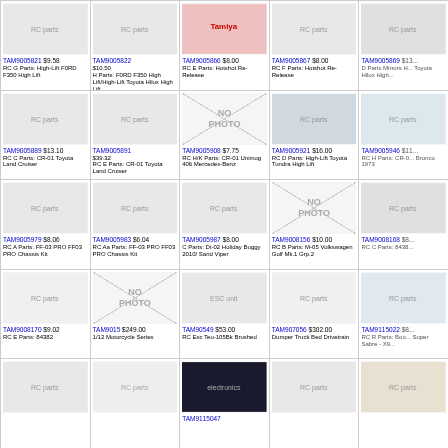[Figure (photo): RC parts photo for TAM9005821]
TAM9005821 $9.58 RC G Parts: High-Lift F0RD F350 High Lift
[Figure (photo): RC parts photo for TAM9005822]
TAM9005822 $10.50 H Parts: F0RD F350 High Lift/High-Lift Toyota Hilux High Lift
[Figure (photo): RC parts photo for TAM9005866]
TAM9005866 $8.00 RC E Parts: Hotshot Re-Release
[Figure (photo): RC parts photo for TAM9005867]
TAM9005867 $8.00 RC F Parts: Hotshot Re-Release
[Figure (photo): RC parts partial photo for TAM9005869]
TAM9005869 $13... D Parts Mirrors H... Toyota Hilux High...
[Figure (photo): RC parts photo for TAM9005889]
TAM9005889 $13.10 RC C Parts: CR-01 Toyota Land Cruiser
[Figure (photo): RC parts photo for TAM9005891]
TAM9005891 $39.32 RC E Parts: CR-01 Toyota Land Cruiser
[Figure (photo): No photo for TAM9005908]
TAM9005908 $7.75 RC H/K Parts: CR-01 Unimog 406 Mercedes-Benz
[Figure (photo): RC parts photo for TAM9005921]
TAM9005921 $16.00 RC D Parts: High-Lift Toyota Tundra High Lift
[Figure (photo): RC parts partial photo for TAM9005946]
TAM9005946 $11... RC H Parts: CR-0... Bronco 1973
[Figure (photo): RC parts photo for TAM9005979]
TAM9005979 $8.06 RC A Parts: FF-03 PRO FF03 PRO Chassis Kit
[Figure (photo): RC parts photo for TAM9005983]
TAM9005983 $6.04 RC Aa Parts: FF-03 PRO FF03 PRO Chassis Kit
[Figure (photo): RC parts photo for TAM9005987]
TAM9005987 $8.00 C Parts: Dt-02 Holiday Buggy 2010/ Sand Viper
[Figure (photo): No photo for TAM9008156]
TAM9008156 $10.00 RC B Parts: M-05 Volkswagen Golf Mk.1 Grp.2
[Figure (photo): RC parts partial photo for TAM9008168]
TAM9008168 $8... RC C Parts: 8438...
[Figure (photo): RC parts photo for TAM9008170]
TAM9008170 $9.02 RC E Parts: 84382
[Figure (photo): No photo for TAM9015]
TAM9015 $249.00 1/12 Motorcycle Series
[Figure (photo): RC parts photo for TAM90549]
TAM90549 $53.00 RC Esc Teu-105Bk Brushed
[Figure (photo): RC parts photo for TAM907056]
TAM907056 $302.00 Dumper Truck Bed Drivetrain
[Figure (photo): RC parts partial photo for TAM9115022]
TAM9115022 $8... RC R Parts: Boo... Super Sabre - X9...
[Figure (photo): RC parts photo row 5 col 1]
[Figure (photo): RC parts photo row 5 col 2]
[Figure (photo): RC parts photo for TAM9115047]
TAM9115047
[Figure (photo): RC parts photo row 5 col 4]
[Figure (photo): RC parts photo row 5 col 5]